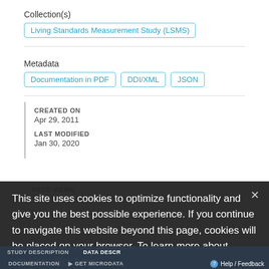Collection(s)
Living Standards Measurement Study (LSMS)
Metadata
Documentation in PDF   DDI/XML   JSON
CREATED ON
Apr 29, 2011
LAST MODIFIED
Jan 30, 2020
PAGE VIEWS
This site uses cookies to optimize functionality and give you the best possible experience. If you continue to navigate this website beyond this page, cookies will be placed on your browser. To learn more about cookies, click here.
STUDY DESCRIPTION   DATA DESCRIPTION
DOCUMENTATION   GET MICRODATA